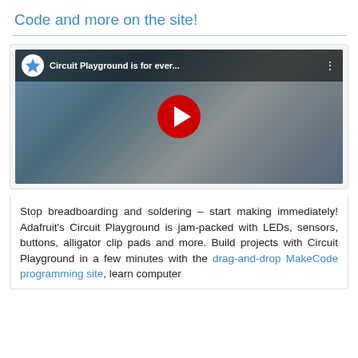Code and more on the site!
[Figure (screenshot): YouTube video thumbnail showing 'Circuit Playground is for ever...' with a blue robot mascot and a woman with pink hair in a workshop/lab setting. A large red YouTube play button is centered on the thumbnail.]
Stop breadboarding and soldering – start making immediately! Adafruit's Circuit Playground is jam-packed with LEDs, sensors, buttons, alligator clip pads and more. Build projects with Circuit Playground in a few minutes with the drag-and-drop MakeCode programming site, learn computer